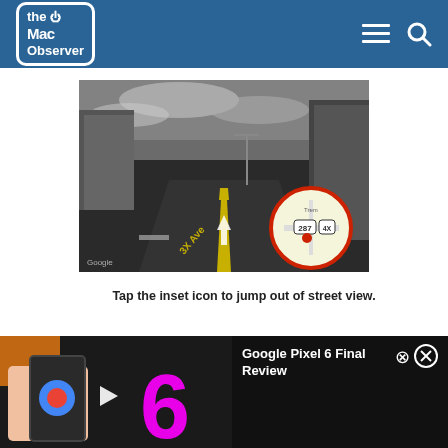The Mac Observer
[Figure (screenshot): Google Street View screenshot showing a road with yellow center lines, a white forward arrow, street sign reading '3X Ave', and an inset map circle in the lower right showing route 287 with a red location pin]
Tap the inset icon to jump out of street view.
[Figure (screenshot): Video thumbnail showing a smartphone and large magenta number 6 with a play button, next to a dark video player panel with title 'Google Pixel 6 Final Review' and a close button]